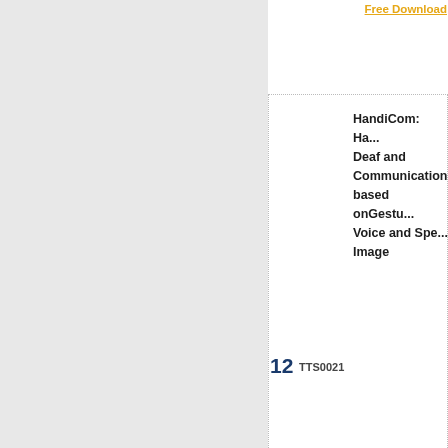Free Download
| # | Code | Title | Links |
| --- | --- | --- | --- |
| 12 | TTS0021 | HandiCom: Ha... Deaf and Communication based onGestu Voice and Spe Image | Abstract | Base P... Free Download |
| 13 | TTS0022 | Micro-Reception Smart Visitor Gu Robot EmbeddedTouch Panel fe Onscreen Sig Verification, C... |  |